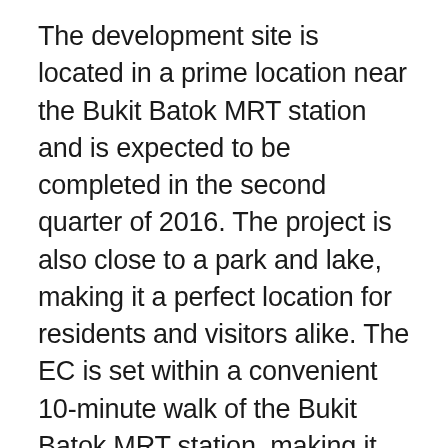The development site is located in a prime location near the Bukit Batok MRT station and is expected to be completed in the second quarter of 2016. The project is also close to a park and lake, making it a perfect location for residents and visitors alike. The EC is set within a convenient 10-minute walk of the Bukit Batok MRT station, making it easy for people to access the area. There are also a number of amenities in the area, including shopping malls and hawker centres.
There is a huge demand for condominiums in Bukit Batok, and this development will certainly meet that demand. The development is within walking distance of the Bukit Batok MRT station, and future hawker centres, markets and a shopping